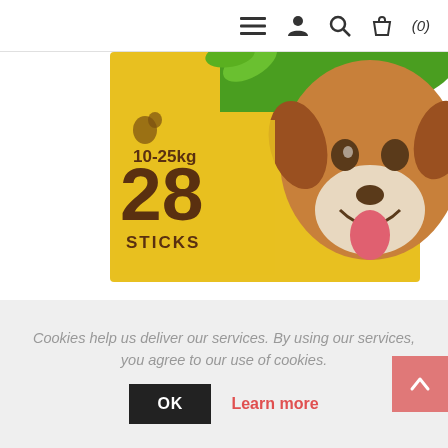[Figure (screenshot): Product image of Pedigree Dentafresh Medium 28 Pack - shows a dog treat package with green and yellow background, a happy dog, labeled 10-25kg, 28 STICKS]
Pedigree Dentafresh Medium 28 Pack
£8.99
Cookies help us deliver our services. By using our services, you agree to our use of cookies.
OK
Learn more